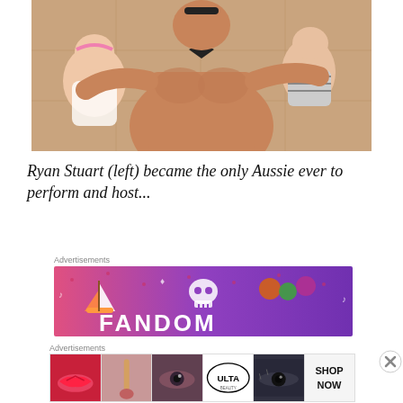[Figure (photo): A muscular shirtless man holding two babies, one on each side. The baby on the left is a girl in a pink outfit with a headband, and the baby on the right is in a striped outfit.]
Ryan Stuart (left) became the only Aussie ever to perform and host...
Advertisements
[Figure (photo): Fandom advertisement banner with colorful cartoon illustrations (sailboat, skull, gems) on a pink-to-purple gradient background with the text FANDOM partially visible.]
Advertisements
[Figure (screenshot): ULTA beauty advertisement showing close-up images of makeup looks (red lips, makeup brush, eye with mascara, ULTA logo, dramatic eye makeup) with a SHOP NOW call to action.]